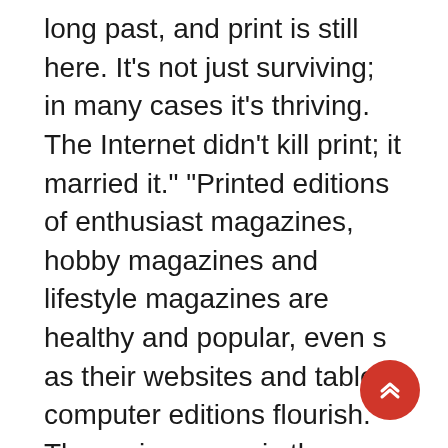long past, and print is still here. It’s not just surviving; in many cases it’s thriving. The Internet didn’t kill print; it married it.” “Printed editions of enthusiast magazines, hobby magazines and lifestyle magazines are healthy and popular, even s as their websites and tablet computer editions flourish. The main reason is the save factor. Print magazines are tangible, a physical thing to have and to hold, to read and pore over. This pleases readers and it pleases advertisers.” Indeed...the technology age has made it much easier to publish in print. Digital cameras, scanners, computers themselves and the wealth of programs available just make it simpler. Our thanks to those of you who have, over the past 27 years, read us for history, people, personality and informative articles as well as the great photography. And a special